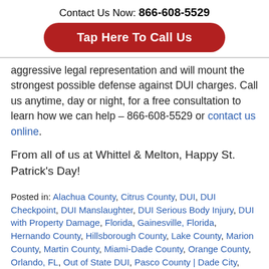Contact Us Now: 866-608-5529
[Figure (other): Red rounded button reading 'Tap Here To Call Us']
aggressive legal representation and will mount the strongest possible defense against DUI charges. Call us anytime, day or night, for a free consultation to learn how we can help – 866-608-5529 or contact us online.
From all of us at Whittel & Melton, Happy St. Patrick's Day!
Posted in: Alachua County, Citrus County, DUI, DUI Checkpoint, DUI Manslaughter, DUI Serious Body Injury, DUI with Property Damage, Florida, Gainesville, Florida, Hernando County, Hillsborough County, Lake County, Marion County, Martin County, Miami-Dade County, Orange County, Orlando, FL, Out of State DUI, Pasco County | Dade City,